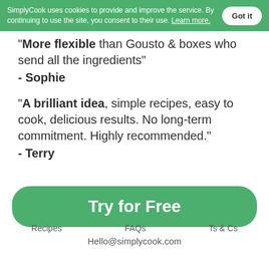SimplyCook uses cookies to provide and improve the service. By continuing to use the site, you consent to their use. Learn more.
"More flexible than Gousto & boxes who send all the ingredients"
- Sophie
"A brilliant idea, simple recipes, easy to cook, delicious results. No long-term commitment. Highly recommended."
- Terry
Try for Free
Recipes   FAQs   Ts & Cs
Hello@simplycook.com